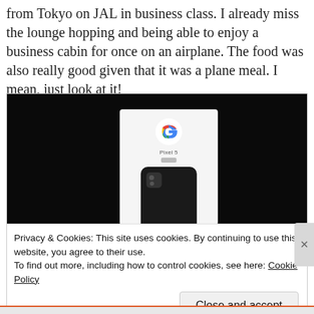from Tokyo on JAL in business class. I already miss the lounge hopping and being able to enjoy a business cabin for once on an airplane. The food was also really good given that it was a plane meal. I mean, just look at it!
[Figure (photo): Photo of a Google Pixel 5 box with the phone visible, set against a dark background. The white box shows the Google 'G' logo and 'Pixel 5' text.]
Privacy & Cookies: This site uses cookies. By continuing to use this website, you agree to their use.
To find out more, including how to control cookies, see here: Cookie Policy
Close and accept